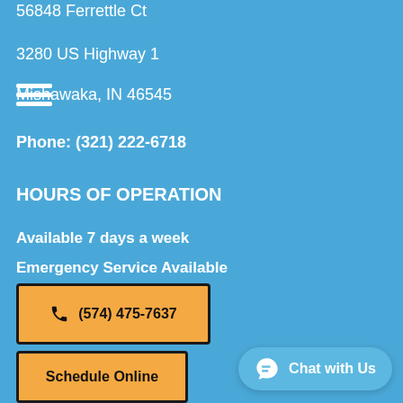56848 Ferrettle Ct
3280 US Highway 1
Mishawaka, IN 46545
Phone: (321) 222-6718
HOURS OF OPERATION
Available 7 days a week
Emergency Service Available
(574) 475-7637
Schedule Online
Chat with Us